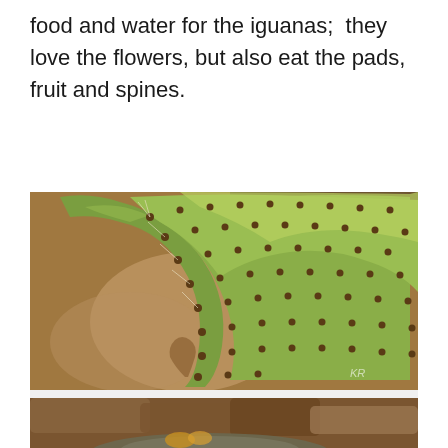food and water for the iguanas;  they love the flowers, but also eat the pads, fruit and spines.
[Figure (photo): Close-up photograph of a cactus pad with brown spines and bite marks, showing the curved edge of the cactus against a blurred brown background.]
Iguana bites on a cactus
[Figure (photo): Partial photograph of an iguana on rocky terrain, partially visible at the bottom of the page.]